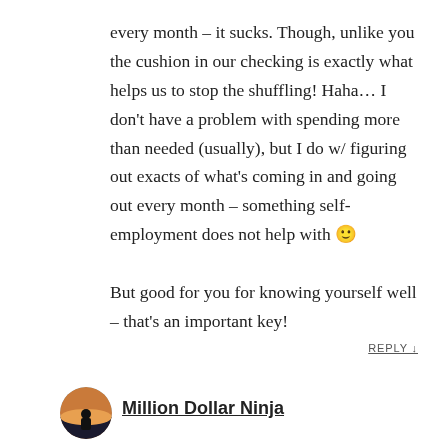every month – it sucks. Though, unlike you the cushion in our checking is exactly what helps us to stop the shuffling! Haha… I don't have a problem with spending more than needed (usually), but I do w/ figuring out exacts of what's coming in and going out every month – something self-employment does not help with 🙂

But good for you for knowing yourself well – that's an important key!
REPLY ↓
[Figure (photo): Circular avatar photo showing a silhouette of a person against a sunset sky]
Million Dollar Ninja